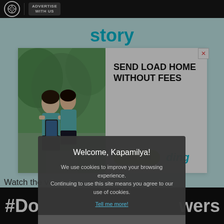ADVERTISE WITH US
[Figure (screenshot): Background webpage showing 'story' text in teal and a light mint/teal ad banner background with a green button strip]
[Figure (photo): Advertisement card overlay: photo of two young girls in teal school uniforms looking at a phone, with headline 'SEND LOAD HOME WITHOUT FEES', a green 'Send load' button, and 'ding' brand name. X close button in top right.]
Watch the v
[Figure (screenshot): Dark banner section showing '#Do' and 'wers' in large white bold text, partially obscured by modal overlay]
Welcome, Kapamilya!
We use cookies to improve your browsing experience.
Continuing to use this site means you agree to our use of cookies.
Tell me more!
I AGREE!